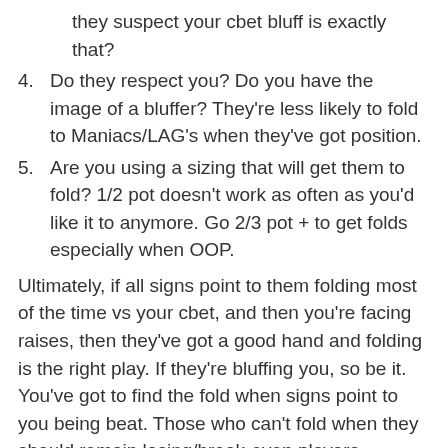they suspect your cbet bluff is exactly that?
4. Do they respect you? Do you have the image of a bluffer?  They're less likely to fold to Maniacs/LAG's when they've got position.
5. Are you using a sizing that will get them to fold? 1/2 pot doesn't work as often as you'd like it to anymore.  Go 2/3 pot + to get folds especially when OOP.
Ultimately, if all signs point to them folding most of the time vs your cbet, and then you're facing raises, then they've got a good hand and folding is the right play.  If they're bluffing you, so be it.  You've got to find the fold when signs point to you being beat.  Those who can't fold when they should remain losing/break-even players.
One final thing, before you raise preflop, look at those yet to act and gauge whether or not they'll call and put you OOP on the flop.  If you've got